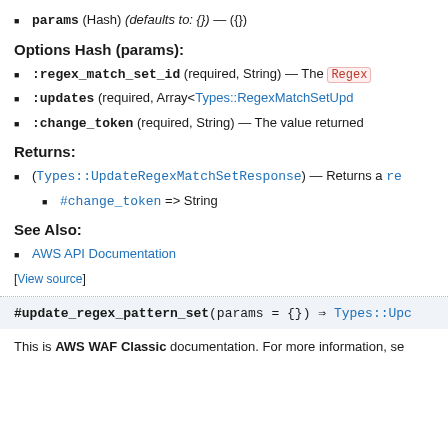params (Hash) (defaults to: {}) — ({})
Options Hash (params):
:regex_match_set_id (required, String) — The Regex…
:updates (required, Array<Types::RegexMatchSetUpd…
:change_token (required, String) — The value returned…
Returns:
(Types::UpdateRegexMatchSetResponse) — Returns a re…
#change_token => String
See Also:
AWS API Documentation
[View source]
#update_regex_pattern_set(params = {}) ⇒ Types::Upc…
This is AWS WAF Classic documentation. For more information, se…